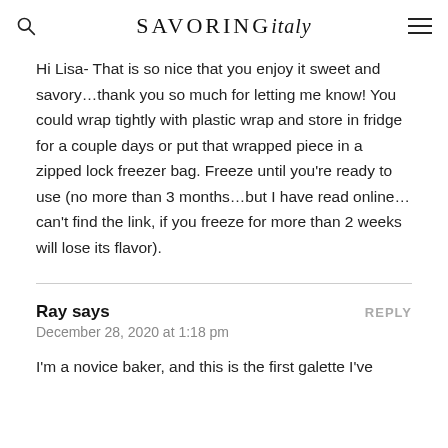SAVORING italy
Hi Lisa- That is so nice that you enjoy it sweet and savory…thank you so much for letting me know! You could wrap tightly with plastic wrap and store in fridge for a couple days or put that wrapped piece in a zipped lock freezer bag. Freeze until you're ready to use (no more than 3 months…but I have read online… can't find the link, if you freeze for more than 2 weeks will lose its flavor).
Ray says
December 28, 2020 at 1:18 pm
I'm a novice baker, and this is the first galette I've